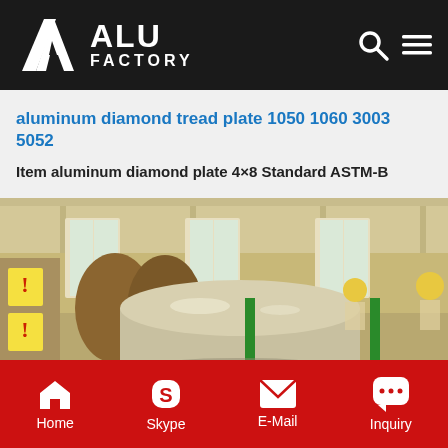[Figure (logo): ALU FACTORY logo with chevron/triangle icon on black header background]
aluminum diamond tread plate 1050 1060 3003 5052
Item aluminum diamond plate 4×8 Standard ASTM-B
[Figure (photo): Large aluminum coils/rolls stored in an industrial warehouse facility, workers with yellow hard hats visible in background]
Home  Skype  E-Mail  Inquiry